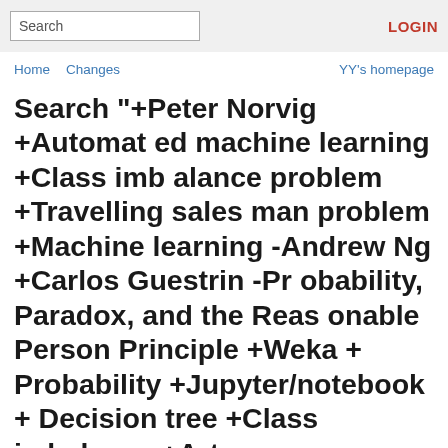Search | LOGIN
Home  Changes  YY's homepage
Search "+Peter Norvig +Automated machine learning +Class imbalance problem +Travelling salesman problem +Machine learning -Andrew Ng +Carlos Guestrin -Probability, Paradox, and the Reasonable Person Principle +Weka +Probability +Jupyter/notebook +Decision tree +Class imbalance +Artemy Kolchinsky -IPython notebook"